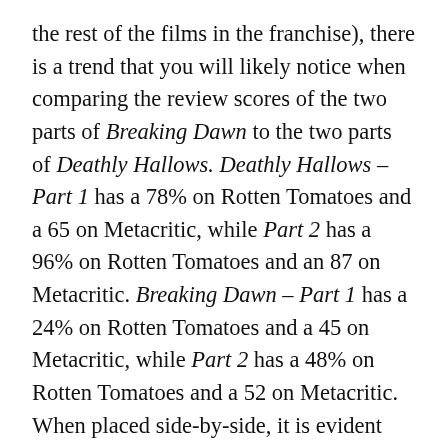the rest of the films in the franchise), there is a trend that you will likely notice when comparing the review scores of the two parts of Breaking Dawn to the two parts of Deathly Hallows. Deathly Hallows – Part 1 has a 78% on Rotten Tomatoes and a 65 on Metacritic, while Part 2 has a 96% on Rotten Tomatoes and an 87 on Metacritic. Breaking Dawn – Part 1 has a 24% on Rotten Tomatoes and a 45 on Metacritic, while Part 2 has a 48% on Rotten Tomatoes and a 52 on Metacritic. When placed side-by-side, it is evident that the last parts of both of these two-part movies received the best critical reception, and it is likely that for most multi-part films, the last part will have the best reviews due to having more action and